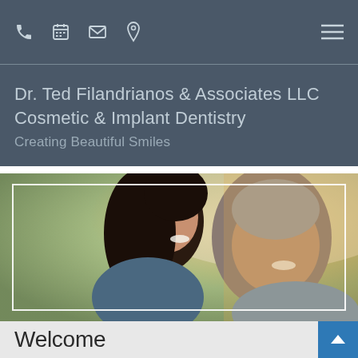Navigation bar with phone, calendar, email, location icons and hamburger menu
Dr. Ted Filandrianos & Associates LLC
Cosmetic & Implant Dentistry
Creating Beautiful Smiles
[Figure (photo): A smiling couple, woman with dark hair leaning on a man with grey hair, both smiling broadly, outdoors with blurred green background. White rectangular border inset on the image.]
Welcome